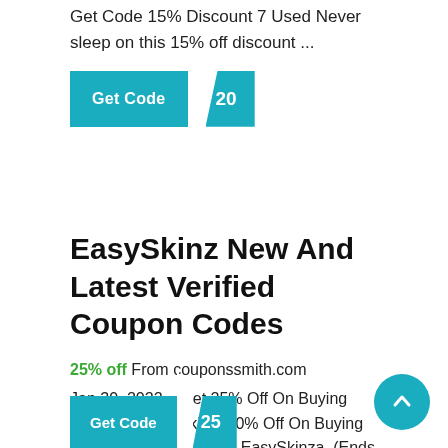Get Code 15% Discount 7 Used Never sleep on this 15% off discount ...
[Figure (other): Teal 'Get Code' button with '20' label on right tab]
EasySkinz New And Latest Verified Coupon Codes
25% off From couponssmith.com
Jan 30, 2022  · Get 25% Off On Buying Any 3 Or More Skinz, 10% Off On Buying Any 2 Or More Skinz At EasySkinza. (Ends Soon) Expires January 31, 2022 Show Deal Update: January 12, 2022 £25 Off On Rewards Enjoy £25 Off When You Earn 2500 EZY Points, Enjoy £20 Off When You Earn 2000 EZY Points, Enjoy £15 Off When You Earn 1500 EZY Points, Expires February ... ...
[Figure (other): Teal 'Get Code' button partially visible at bottom with tab on right]